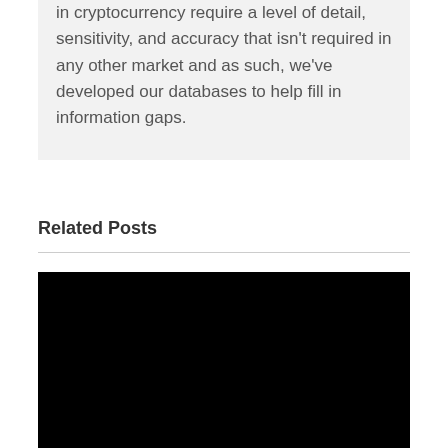in cryptocurrency require a level of detail, sensitivity, and accuracy that isn't required in any other market and as such, we've developed our databases to help fill in information gaps.
Related Posts
[Figure (photo): Black image placeholder for a related post thumbnail]